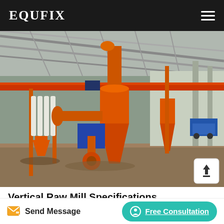EQUFIX
[Figure (photo): Industrial vertical raw mill machinery with orange cyclone separator and pipes installed inside a large steel-frame warehouse/factory building]
Vertical Raw Mill Specifications
Send Message | Free Consultation